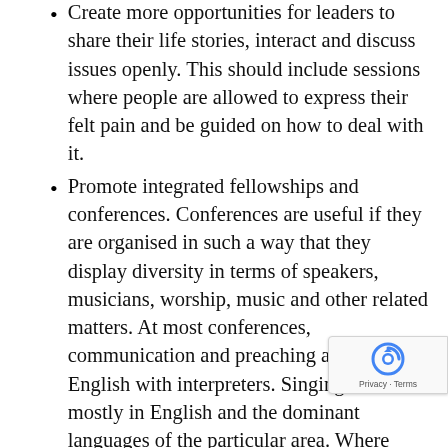Create more opportunities for leaders to share their life stories, interact and discuss issues openly. This should include sessions where people are allowed to express their felt pain and be guided on how to deal with it.
Promote integrated fellowships and conferences. Conferences are useful if they are organised in such a way that they display diversity in terms of speakers, musicians, worship, music and other related matters. At most conferences, communication and preaching are in English with interpreters. Singing is also mostly in English and the dominant languages of the particular area. Where possible, lyrics of songs are displayed on a screen, with vernacular subtitles.
Empower church leadership on all levels to participate in the planning and implementation of activities that promote diversity and cohesion. This should include relationship-building activities and opportunities for Pastors and members to interact and visit one another as individuals or as a group.